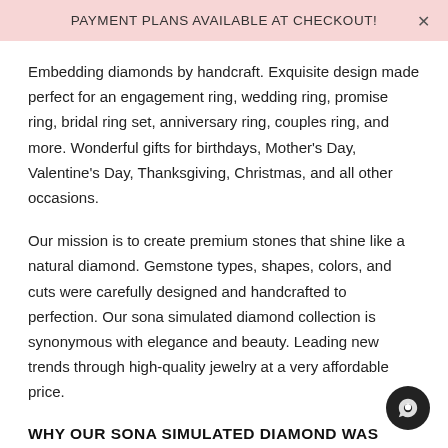PAYMENT PLANS AVAILABLE AT CHECKOUT!
Embedding diamonds by handcraft. Exquisite design made perfect for an engagement ring, wedding ring, promise ring, bridal ring set, anniversary ring, couples ring, and more. Wonderful gifts for birthdays, Mother's Day, Valentine's Day, Thanksgiving, Christmas, and all other occasions.
Our mission is to create premium stones that shine like a natural diamond. Gemstone types, shapes, colors, and cuts were carefully designed and handcrafted to perfection. Our sona simulated diamond collection is synonymous with elegance and beauty. Leading new trends through high-quality jewelry at a very affordable price.
WHY OUR SONA SIMULATED DIAMOND WAS RECOGNIZED AS THE BEST DIAMOND?